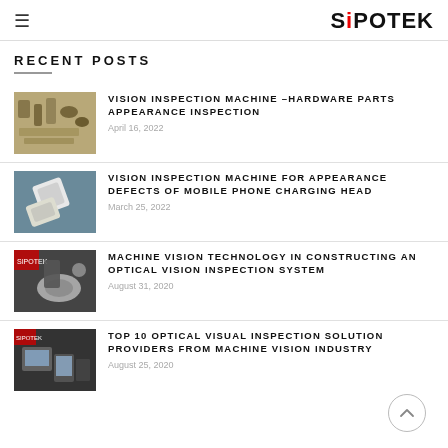SiPOTEK
RECENT POSTS
[Figure (photo): Hardware parts - screws, bolts, connectors on a surface]
VISION INSPECTION MACHINE –HARDWARE PARTS APPEARANCE INSPECTION
April 16, 2022
[Figure (photo): White mobile phone charging head/adapter at an angle]
VISION INSPECTION MACHINE FOR APPEARANCE DEFECTS OF MOBILE PHONE CHARGING HEAD
March 25, 2022
[Figure (photo): Machine vision inspection system with bowl and optics]
MACHINE VISION TECHNOLOGY IN CONSTRUCTING AN OPTICAL VISION INSPECTION SYSTEM
August 31, 2020
[Figure (photo): Optical visual inspection machine with monitor and equipment]
TOP 10 OPTICAL VISUAL INSPECTION SOLUTION PROVIDERS FROM MACHINE VISION INDUSTRY
August 25, 2020